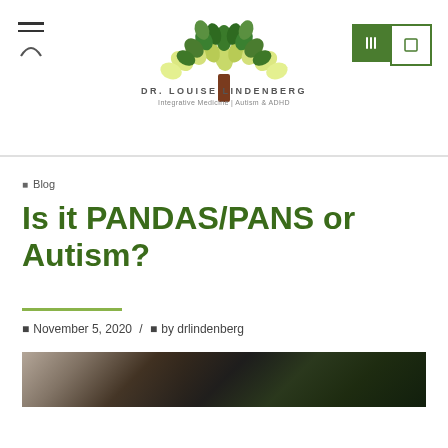[Figure (logo): Dr. Louise Lindenberg logo with tree made of green leaves and brown trunk, text 'DR. LOUISE LINDENBERG' and 'Integrative Medicine | Autism & ADHD']
Blog
Is it PANDAS/PANS or Autism?
November 5, 2020 / by drlindenberg
[Figure (photo): Partial view of a nature/animal photo strip at bottom of page]